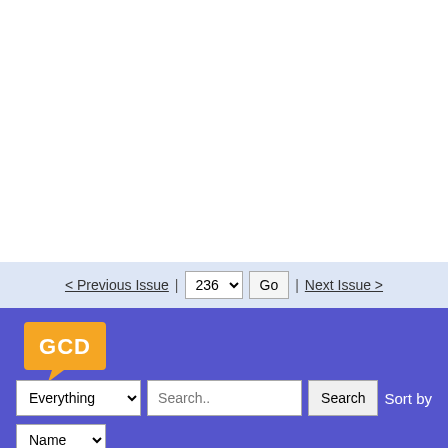[Figure (screenshot): White content area above the navigation bar (partial webpage view)]
< Previous Issue | 236 [dropdown] Go | Next Issue >
[Figure (logo): GCD (Grand Comics Database) speech-bubble logo in orange on purple background]
Everything [dropdown] Search.. Search  Sort by
Name [dropdown]
Advanced Query  Log In  Donate